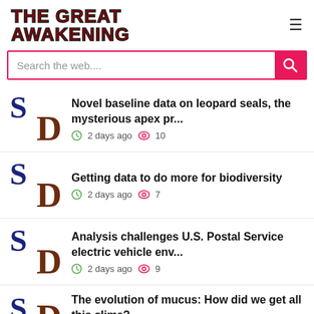THE GREAT AWAKENING
Search the web....
Novel baseline data on leopard seals, the mysterious apex pr... 2 days ago 10
Getting data to do more for biodiversity 2 days ago 7
Analysis challenges U.S. Postal Service electric vehicle env... 2 days ago 9
The evolution of mucus: How did we get all this slime?